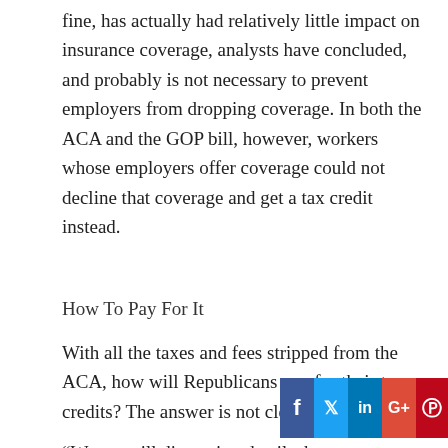fine, has actually had relatively little impact on insurance coverage, analysts have concluded, and probably is not necessary to prevent employers from dropping coverage. In both the ACA and the GOP bill, however, workers whose employers offer coverage could not decline that coverage and get a tax credit instead.
How To Pay For It
With all the taxes and fees stripped from the ACA, how will Republicans pay for their tax credits? The answer is not clear yet.
“We are still discussing details, but we are committed [to repealing and] replacing it with fiscally responsible policies that restore the
[Figure (infographic): Social media sharing bar with Facebook, Twitter, LinkedIn, Google+, and Pinterest buttons]